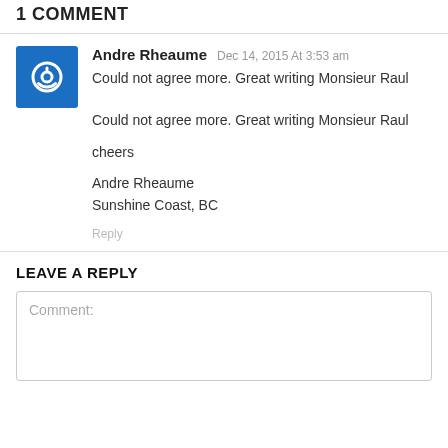1 COMMENT
Andre Rheaume  Dec 14, 2015 At 3:53 am
Could not agree more. Great writing Monsieur Raul

cheers

Andre Rheaume
Sunshine Coast, BC
Reply
LEAVE A REPLY
Comment: